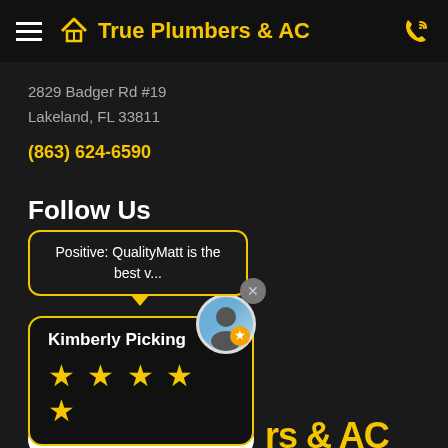True Plumbers & AC
2829 Badger Rd #19
Lakeland, FL 33811
(863) 624-6590
Follow Us
Positive: QualityMatt is the best v...
Kimberly Picking ★★★★★
See More Reviews
Leave a review
rs & AC
4000 N Frontage Rd